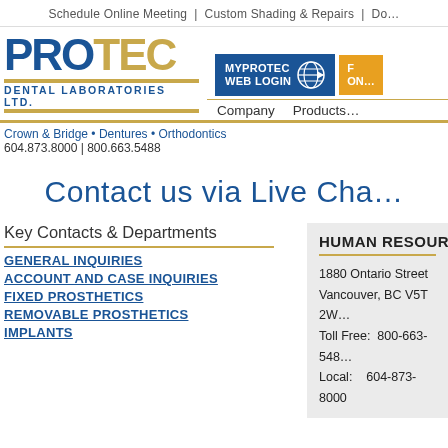Schedule Online Meeting  |  Custom Shading & Repairs  |  Do...
[Figure (logo): PROTEC Dental Laboratories Ltd. logo with blue PRO and gold TEC text, gold accent lines, and blue subtext]
myPROTEC WEB LOGIN
Crown & Bridge • Dentures • Orthodontics
604.873.8000 | 800.663.5488
Company   Products
Contact us via Live Cha...
Key Contacts & Departments
GENERAL INQUIRIES
ACCOUNT AND CASE INQUIRIES
FIXED PROSTHETICS
REMOVABLE PROSTHETICS
IMPLANTS
HUMAN RESOURCES
1880 Ontario Street
Vancouver, BC V5T 2W...
Toll Free: 800-663-548...
Local: 604-873-8000